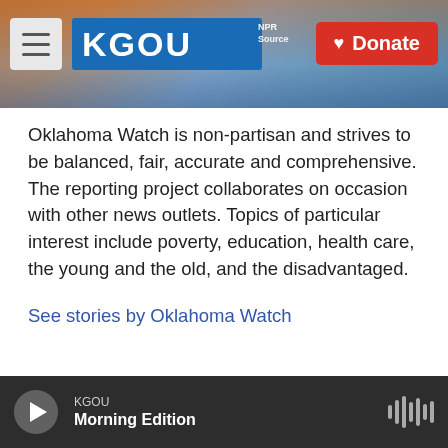[Figure (screenshot): KGOU radio station website header with hamburger menu, KGOU logo on blue background, city skyline photo background, and red Donate button]
Oklahoma Watch is non-partisan and strives to be balanced, fair, accurate and comprehensive. The reporting project collaborates on occasion with other news outlets. Topics of particular interest include poverty, education, health care, the young and the old, and the disadvantaged.
See stories by Oklahoma Watch
KGOU Morning Edition